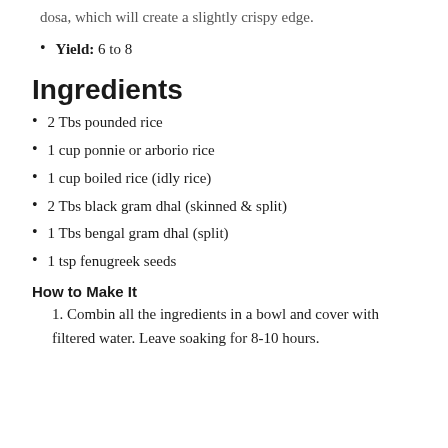dosa, which will create a slightly crispy edge.
Yield: 6 to 8
Ingredients
2 Tbs pounded rice
1 cup ponnie or arborio rice
1 cup boiled rice (idly rice)
2 Tbs black gram dhal (skinned & split)
1 Tbs bengal gram dhal (split)
1 tsp fenugreek seeds
How to Make It
Combin all the ingredients in a bowl and cover with filtered water. Leave soaking for 8-10 hours.